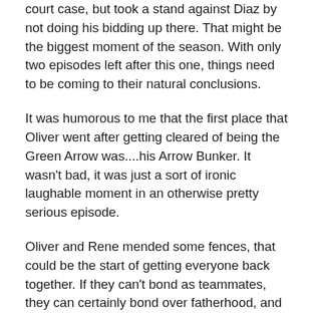court case, but took a stand against Diaz by not doing his bidding up there. That might be the biggest moment of the season. With only two episodes left after this one, things need to be coming to their natural conclusions.
It was humorous to me that the first place that Oliver went after getting cleared of being the Green Arrow was....his Arrow Bunker. It wasn't bad, it was just a sort of ironic laughable moment in an otherwise pretty serious episode.
Oliver and Rene mended some fences, that could be the start of getting everyone back together. If they can't bond as teammates, they can certainly bond over fatherhood, and that might just do the trick.
Nothing huge in the Easter Egg department, other than a sound effect. Diaz had a dampener to inhibit Laurel's powers. The dampener had the same sound that the Doctor's sonic screwdriver makes in Doctor Who. The Arrowverse has had